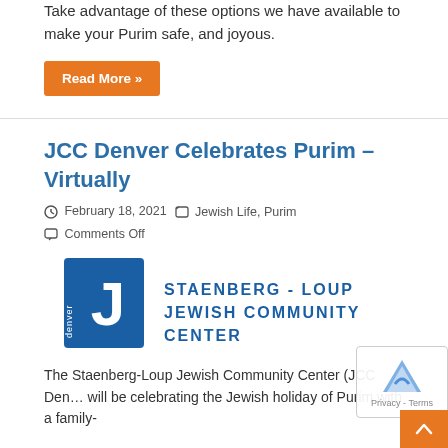Take advantage of these options we have available to make your Purim safe, and joyous.
Read More »
JCC Denver Celebrates Purim – Virtually
February 18, 2021  Jewish Life, Purim  Comments Off
[Figure (logo): Staenberg-Loup Jewish Community Center logo: blue J with 'denver' text and bold text reading STAENBERG - LOUP JEWISH COMMUNITY CENTER]
The Staenberg-Loup Jewish Community Center (JCC Den... will be celebrating the Jewish holiday of Purim with a family-